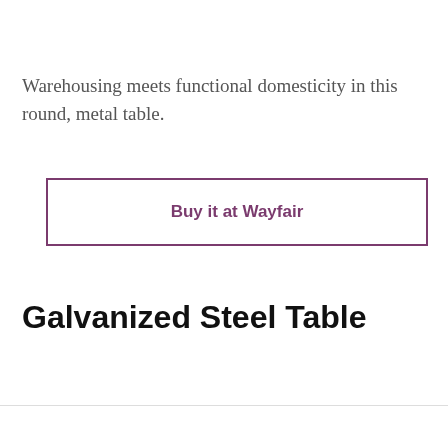Warehousing meets functional domesticity in this round, metal table.
Buy it at Wayfair
Galvanized Steel Table